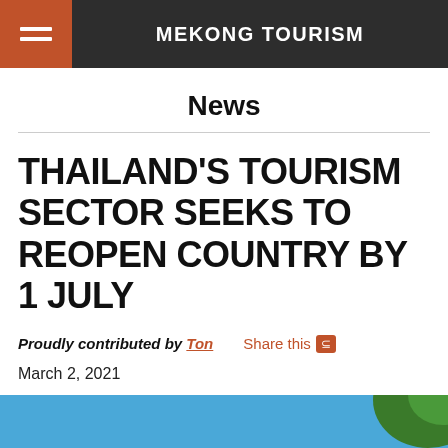MEKONG TOURISM
News
THAILAND'S TOURISM SECTOR SEEKS TO REOPEN COUNTRY BY 1 JULY
Proudly contributed by Ton   Share this
March 2, 2021
[Figure (photo): Blue sky outdoor photo strip with greenery at top right]